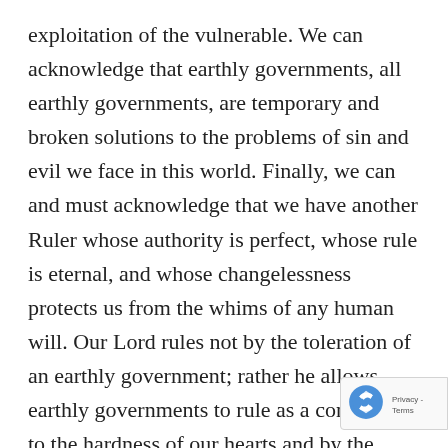exploitation of the vulnerable. We can acknowledge that earthly governments, all earthly governments, are temporary and broken solutions to the problems of sin and evil we face in this world. Finally, we can and must acknowledge that we have another Ruler whose authority is perfect, whose rule is eternal, and whose changelessness protects us from the whims of any human will. Our Lord rules not by the toleration of an earthly government; rather he allows earthly governments to rule as a concession to the hardness of our hearts and by the tolerance of his grace.

In 1 Timothy 2:1-6 Paul commands the Church to pray for our earthly governments, and thus we… This is a sacred duty, even when our rulers are…